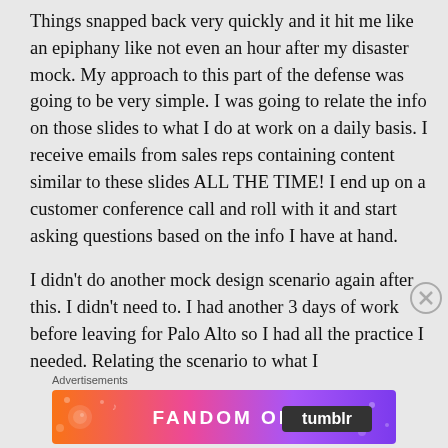Things snapped back very quickly and it hit me like an epiphany like not even an hour after my disaster mock. My approach to this part of the defense was going to be very simple. I was going to relate the info on those slides to what I do at work on a daily basis. I receive emails from sales reps containing content similar to these slides ALL THE TIME! I end up on a customer conference call and roll with it and start asking questions based on the info I have at hand.
I didn't do another mock design scenario again after this. I didn't need to. I had another 3 days of work before leaving for Palo Alto so I had all the practice I needed. Relating the scenario to what I
Advertisements
[Figure (illustration): Colorful advertisement banner reading 'FANDOM ON tumblr' with orange, pink, and purple gradient background with decorative elements.]